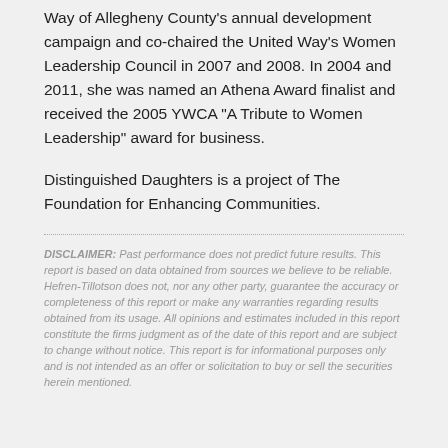Way of Allegheny County's annual development campaign and co-chaired the United Way's Women Leadership Council in 2007 and 2008. In 2004 and 2011, she was named an Athena Award finalist and received the 2005 YWCA "A Tribute to Women Leadership" award for business.
Distinguished Daughters is a project of The Foundation for Enhancing Communities.
DISCLAIMER: Past performance does not predict future results. This report is based on data obtained from sources we believe to be reliable. Hefren-Tillotson does not, nor any other party, guarantee the accuracy or completeness of this report or make any warranties regarding results obtained from its usage. All opinions and estimates included in this report constitute the firms judgment as of the date of this report and are subject to change without notice. This report is for informational purposes only and is not intended as an offer or solicitation to buy or sell the securities herein mentioned.